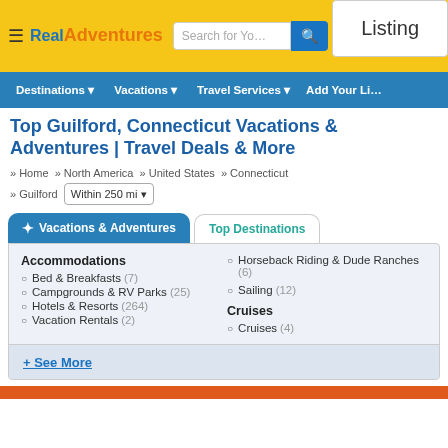Real Adventures | Listing
Top Guilford, Connecticut Vacations & Adventures | Travel Deals & More
» Home » North America » United States » Connecticut » Guilford  Within 250 mi
Vacations & Adventures
Top Destinations
Accommodations
Bed & Breakfasts (7)
Campgrounds & RV Parks (25)
Hotels & Resorts (264)
Vacation Rentals (2)
Horseback Riding & Dude Ranches (6)
Sailing (12)
Cruises
Cruises (4)
+ See More